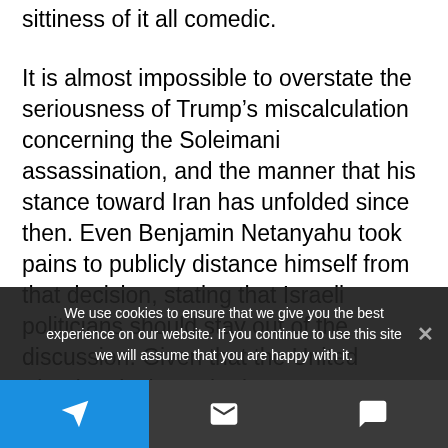sittiness of it all comedic.
It is almost impossible to overstate the seriousness of Trump’s miscalculation concerning the Soleimani assassination, and the manner that his stance toward Iran has unfolded since then. Even Benjamin Netanyahu took pains to publicly distance himself from that decision, stating that Israeli politicians should stay out of the discussion. Given that the United Kingdom is the United States’ most uncritically subservient ally, Boris Johnson’s public criticism
We use cookies to ensure that we give you the best experience on our website. If you continue to use this site we will assume that you are happy with it.